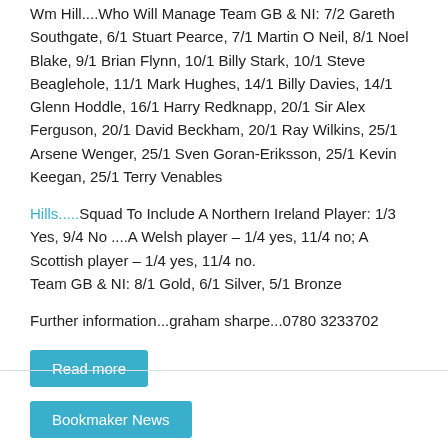Wm Hill....Who Will Manage Team GB & NI: 7/2 Gareth Southgate, 6/1 Stuart Pearce, 7/1 Martin O Neil, 8/1 Noel Blake, 9/1 Brian Flynn, 10/1 Billy Stark, 10/1 Steve Beaglehole, 11/1 Mark Hughes, 14/1 Billy Davies, 14/1 Glenn Hoddle, 16/1 Harry Redknapp, 20/1 Sir Alex Ferguson, 20/1 David Beckham, 20/1 Ray Wilkins, 25/1 Arsene Wenger, 25/1 Sven Goran-Eriksson, 25/1 Kevin Keegan, 25/1 Terry Venables
Hills.....Squad To Include A Northern Ireland Player: 1/3 Yes, 9/4 No ....A Welsh player – 1/4 yes, 11/4 no; A Scottish player – 1/4 yes, 11/4 no.
Team GB & NI: 8/1 Gold, 6/1 Silver, 5/1 Bronze
Further information...graham sharpe...0780 3233702
Read more
Bookmaker News